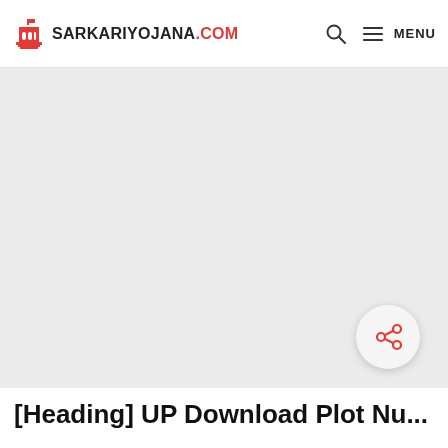SARKARIYOJANA.COM
SarkariYojana.com
[Figure (screenshot): Large gray advertisement/image placeholder area in the center of the page]
[Figure (infographic): Circular share button with share icon in red on light gray background]
[Heading] UP Download Plot Nu...